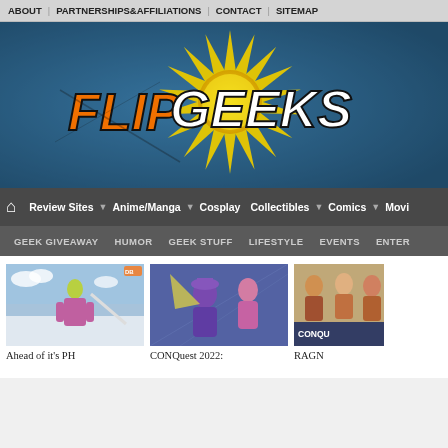ABOUT · PARTNERSHIPS&AFFILIATIONS · CONTACT · SITEMAP
[Figure (logo): FlipGeeks logo on blue textured background with comic-style starburst effect. Orange and white text reading FlipGeeks.]
Review Sites · Anime/Manga · Cosplay · Collectibles · Comics · Movies
GEEK GIVEAWAY · HUMOR · GEEK STUFF · LIFESTYLE · EVENTS · ENTER...
[Figure (photo): Anime character from Dragon Ball in action pose with sword]
Ahead of it's PH
[Figure (photo): CONQuest 2022 promotional art showing anime-style female characters]
CONQuest 2022:
[Figure (photo): RAGN... CONQU... promotional art with multiple characters]
RAGN